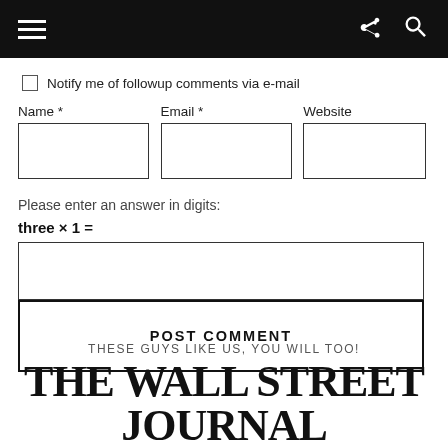Navigation bar with hamburger menu, share icon, and search icon
Notify me of followup comments via e-mail
Name *   Email *   Website
Please enter an answer in digits:
POST COMMENT
THESE GUYS LIKE US, YOU WILL TOO!
THE WALL STREET JOURNAL